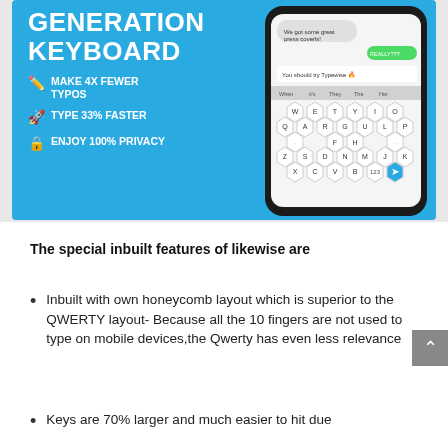[Figure (screenshot): Blue promotional banner for a keyboard app showing 'GENERATION KEYBOARD' title with features: MAKE 4X FEWER TYPOS, TYPE 33% FASTER, ENJOY 100% PRIVACY, alongside a phone mockup showing a honeycomb-layout keyboard]
The special inbuilt features of likewise are
Inbuilt with own honeycomb layout which is superior to the QWERTY layout- Because all the 10 fingers are not used to type on mobile devices,the Qwerty has even less relevance
Keys are 70% larger and much easier to hit due